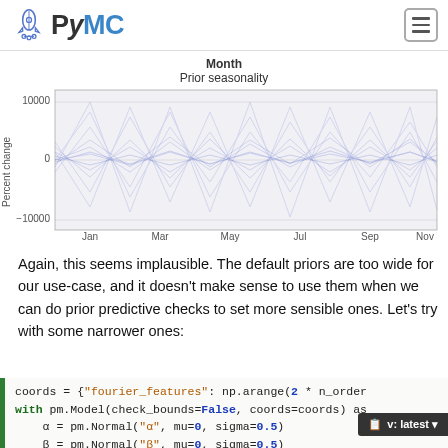PyMC
[Figure (continuous-plot): Line chart showing prior seasonality percent change across months (Jan through Nov). Multiple overlapping semi-transparent blue lines creating a dense band, ranging from about -10000 to +10000 percent change.]
Again, this seems implausible. The default priors are too wide for our use-case, and it doesn't make sense to use them when we can do prior predictive checks to set more sensible ones. Let's try with some narrower ones:
coords = {"fourier_features": np.arange(2 * n_order
with pm.Model(check_bounds=False, coords=coords) as
    α = pm.Normal("α", mu=0, sigma=0.5)
    β = pm.Normal("β", mu=0, sigma=0.5)
    trend = pm.Deterministic("trend", α

    β_fourier = pm.Normal("β_fourier", mu=0, sigma=0
    seasonality = pm.Deterministic(